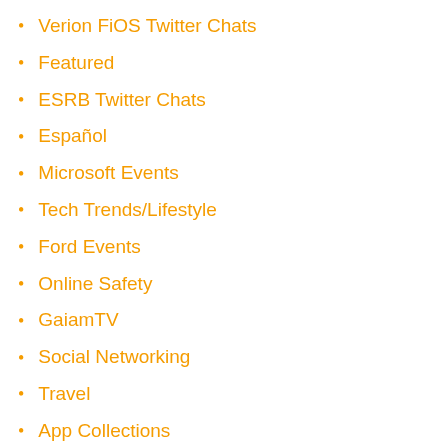Verion FiOS Twitter Chats
Featured
ESRB Twitter Chats
Español
Microsoft Events
Tech Trends/Lifestyle
Ford Events
Online Safety
GaiamTV
Social Networking
Travel
App Collections